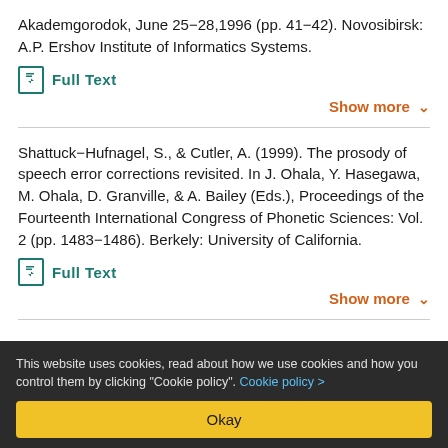Akademgorodok, June 25–28,1996 (pp. 41–42). Novosibirsk: A.P. Ershov Institute of Informatics Systems.
Full Text
Show more
Shattuck-Hufnagel, S., & Cutler, A. (1999). The prosody of speech error corrections revisited. In J. Ohala, Y. Hasegawa, M. Ohala, D. Granville, & A. Bailey (Eds.), Proceedings of the Fourteenth International Congress of Phonetic Sciences: Vol. 2 (pp. 1483–1486). Berkely: University of California.
Full Text
Show more
This website uses cookies, read about how we use cookies and how you control them by clicking "Cookie policy". Cookie policy >
Okay